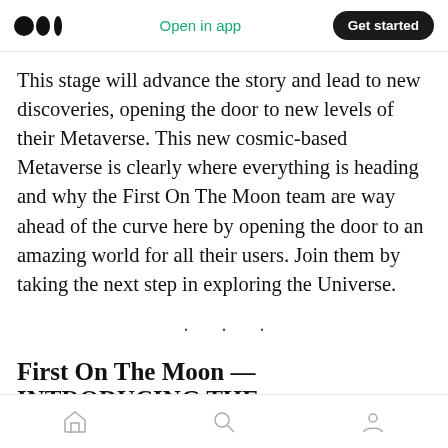Open in app | Get started
This stage will advance the story and lead to new discoveries, opening the door to new levels of their Metaverse. This new cosmic-based Metaverse is clearly where everything is heading and why the First On The Moon team are way ahead of the curve here by opening the door to an amazing world for all their users. Join them by taking the next step in exploring the Universe.
· · ·
First On The Moon — INTRODUCING THE
Home | Search | Profile